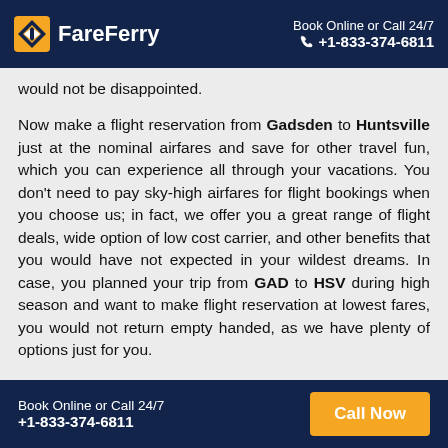FareFerry — Book Online or Call 24/7 +1-833-374-6811
would not be disappointed.

Now make a flight reservation from Gadsden to Huntsville just at the nominal airfares and save for other travel fun, which you can experience all through your vacations. You don't need to pay sky-high airfares for flight bookings when you choose us; in fact, we offer you a great range of flight deals, wide option of low cost carrier, and other benefits that you would have not expected in your wildest dreams. In case, you planned your trip from GAD to HSV during high season and want to make flight reservation at lowest fares, you would not return empty handed, as we have plenty of options just for you.

So what are you waiting for? Compare the airfares and book your flight from Gadsden to Huntsville from FareFerry based
Book Online or Call 24/7 +1-833-374-6811 — Call Now